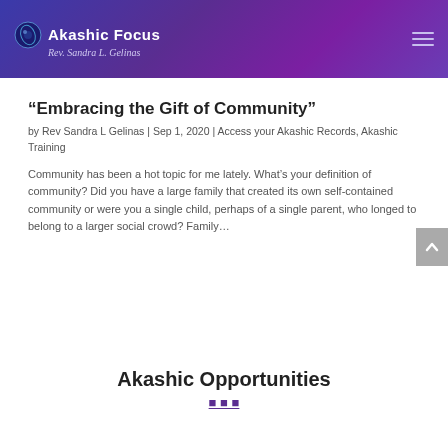Akashic Focus — Rev. Sandra L. Gelinas
“Embracing the Gift of Community”
by Rev Sandra L Gelinas | Sep 1, 2020 | Access your Akashic Records, Akashic Training
Community has been a hot topic for me lately. What’s your definition of community? Did you have a large family that created its own self-contained community or were you a single child, perhaps of a single parent, who longed to belong to a larger social crowd? Family…
Akashic Opportunities